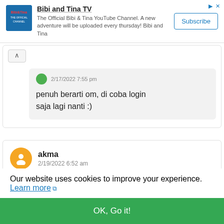[Figure (screenshot): Ad banner for Bibi and Tina TV YouTube channel with logo, description text, and Subscribe button]
Bibi and Tina TV
The Official Bibi & Tina YouTube Channel. A new adventure will be uploaded every thursday! Bibi and Tina
Subscribe
2/17/2022 7:55 pm
penuh berarti om, di coba login saja lagi nanti :)
akma
2/19/2022 6:52 am
Our website uses cookies to improve your experience. Learn more
OK, Go it!